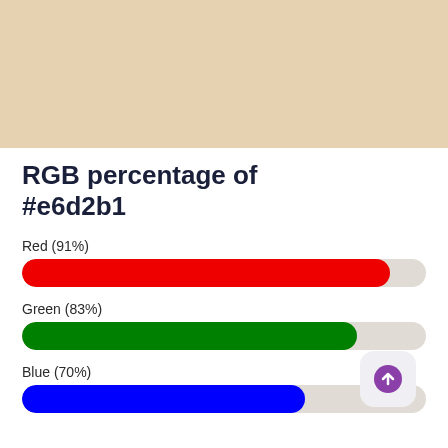[Figure (other): Color swatch showing the color #e6d2b1, a light beige/tan color filling the top portion of the page.]
RGB percentage of #e6d2b1
[Figure (bar-chart): RGB percentage of #e6d2b1]